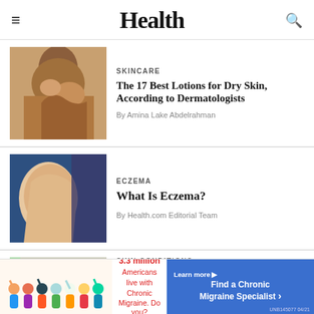Health
[Figure (photo): Woman applying lotion to her neck and shoulder area]
SKINCARE
The 17 Best Lotions for Dry Skin, According to Dermatologists
By Amina Lake Abdelrahman
[Figure (photo): Person scratching arm showing signs of eczema]
ECZEMA
What Is Eczema?
By Health.com Editorial Team
[Figure (photo): Woman holding - partially visible image]
SKIN CONDITIONS
[Figure (infographic): Advertisement: 3.3 million Americans live with Chronic Migraine. Do you? Learn more - Find a Chronic Migraine Specialist. UNB145077 04/21]